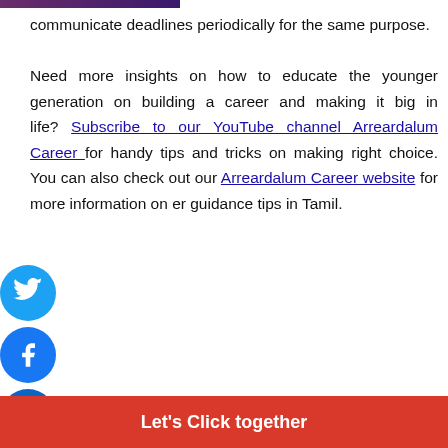communicate deadlines periodically for the same purpose.
Need more insights on how to educate the younger generation on building a career and making it big in life? Subscribe to our YouTube channel Arreardalum Career for handy tips and tricks on making right choice. You can also check out our Arreardalum Career website for more information on er guidance tips in Tamil.
[Figure (logo): Twitter social media icon (blue circle with bird)]
[Figure (logo): Facebook social media icon (blue circle with f)]
[Figure (logo): LinkedIn social media icon (blue circle with in)]
Let's Click together